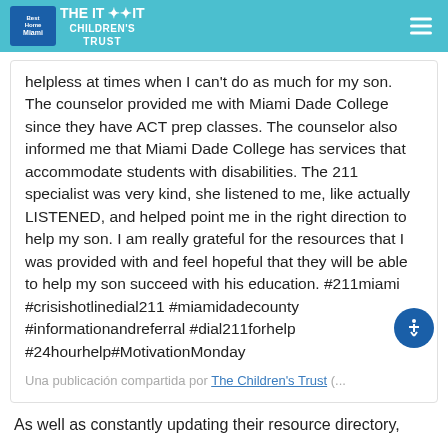Best Home Miami | The Children's Trust
helpless at times when I can't do as much for my son. The counselor provided me with Miami Dade College since they have ACT prep classes. The counselor also informed me that Miami Dade College has services that accommodate students with disabilities. The 211 specialist was very kind, she listened to me, like actually LISTENED, and helped point me in the right direction to help my son. I am really grateful for the resources that I was provided with and feel hopeful that they will be able to help my son succeed with his education. #211miami #crisishotlinedial211 #miamidadecounty #informationandreferral #dial211forhelp #24hourhelp#MotivationMonday
Una publicación compartida por The Children's Trust (...
As well as constantly updating their resource directory,